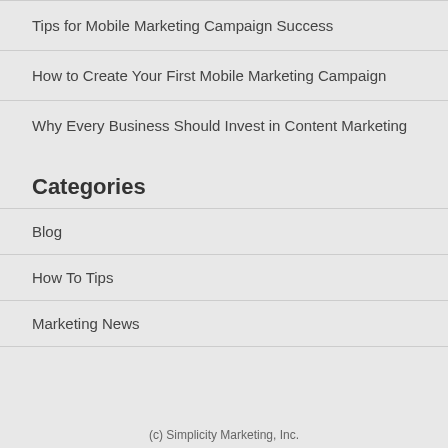Tips for Mobile Marketing Campaign Success
How to Create Your First Mobile Marketing Campaign
Why Every Business Should Invest in Content Marketing
Categories
Blog
How To Tips
Marketing News
(c) Simplicity Marketing, Inc.